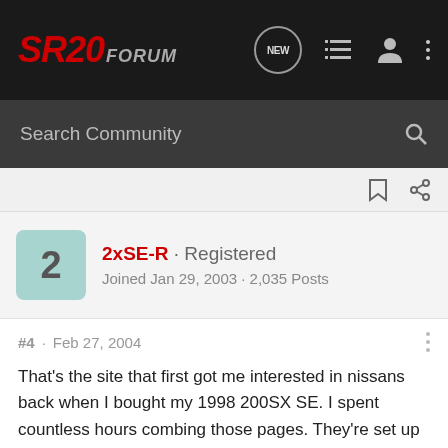SR20 FORUM
Search Community
2xSE-R · Registered
Joined Jan 29, 2003 · 2,035 Posts
#4 · Feb 27, 2004
That's the site that first got me interested in nissans back when I bought my 1998 200SX SE. I spent countless hours combing those pages. They're set up really well and they're really really informative.
1991 Classic SE-R
2003 VW GTI 1.8t